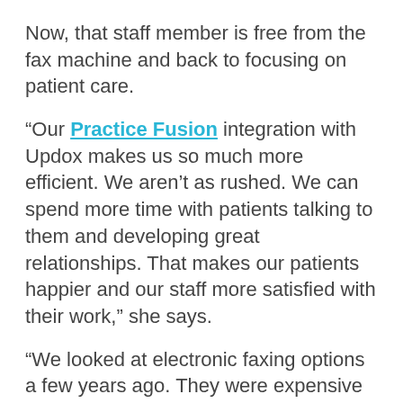Now, that staff member is free from the fax machine and back to focusing on patient care.
“Our Practice Fusion integration with Updox makes us so much more efficient. We aren’t as rushed. We can spend more time with patients talking to them and developing great relationships. That makes our patients happier and our staff more satisfied with their work,” she says.
“We looked at electronic faxing options a few years ago. They were expensive and would have caused us a lot of other work to implement and manage. I saw a demo of Updox and knew immediately it would streamline our processes. Because it was integrated with our Practice Fusion EHR, it